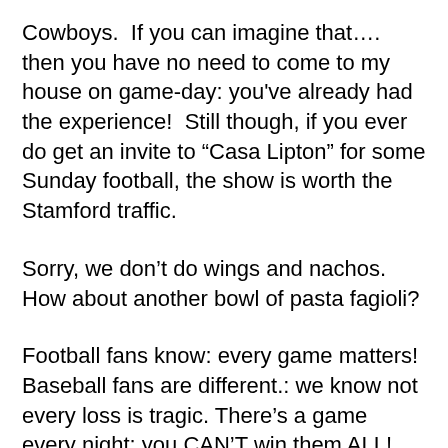Cowboys.  If you can imagine that.... then you have no need to come to my house on game-day: you've already had the experience!  Still though, if you ever do get an invite to “Casa Lipton” for some Sunday football, the show is worth the Stamford traffic.
Sorry, we don’t do wings and nachos. How about another bowl of pasta fagioli?
Football fans know: every game matters!  Baseball fans are different.: we know not every loss is tragic. There’s a game every night: you CAN’T win them ALL!
And on most mornings between April and October that difference is on...